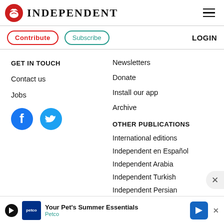INDEPENDENT
Contribute
Subscribe
LOGIN
GET IN TOUCH
Contact us
Jobs
[Figure (logo): Facebook and Twitter social media icons]
Newsletters
Donate
Install our app
Archive
OTHER PUBLICATIONS
International editions
Independent en Español
Independent Arabia
Independent Turkish
Independent Persian
[Figure (infographic): Petco advertisement banner: Your Pet's Summer Essentials]